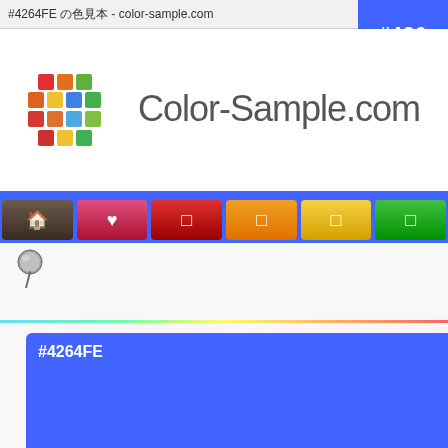#4264FEの色見本 - color-sample.com
[Figure (logo): Color-Sample.com logo: colorful grid circle with site name text]
[Figure (screenshot): Navigation bar with home, favorite, red, orange, yellow, green colored buttons]
[Figure (illustration): Push pin icon]
[Figure (infographic): Color swatch box filled with #4264FE blue color]
#4264FE